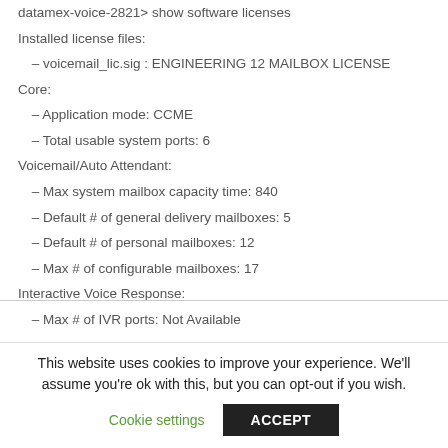datamex-voice-2821> show software licenses
Installed license files:
– voicemail_lic.sig : ENGINEERING 12 MAILBOX LICENSE
Core:
– Application mode: CCME
– Total usable system ports: 6
Voicemail/Auto Attendant:
– Max system mailbox capacity time: 840
– Default # of general delivery mailboxes: 5
– Default # of personal mailboxes: 12
– Max # of configurable mailboxes: 17
Interactive Voice Response:
– Max # of IVR ports: Not Available
This website uses cookies to improve your experience. We'll assume you're ok with this, but you can opt-out if you wish.
Cookie settings   ACCEPT